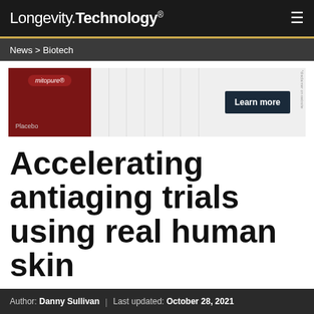Longevity.Technology®
News > Biotech
[Figure (other): Advertisement banner for Mitopure showing bar chart comparison between Mitopure and Placebo with a Learn more button]
Accelerating antiaging trials using real human skin
Author: Danny Sullivan | Last updated: October 28, 2021